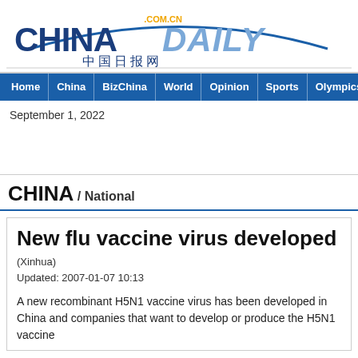[Figure (logo): China Daily .com.cn logo with Chinese characters]
Home | China | BizChina | World | Opinion | Sports | Olympics |
September 1, 2022
CHINA / National
New flu vaccine virus developed
(Xinhua)
Updated: 2007-01-07 10:13
A new recombinant H5N1 vaccine virus has been developed in Ch... and companies that want to develop or produce the H5N1 vaccine...